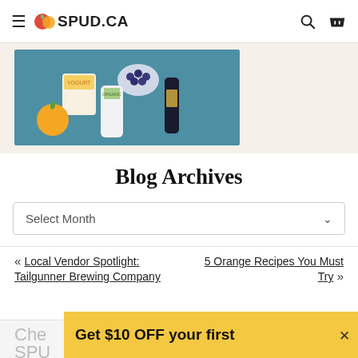≡ SPUD.CA
[Figure (photo): Top-down photo of groceries on a teal tray: yogurt, blueberries, milk bottle, small sauce bottle, and an orange]
Blog Archives
Select Month
« Local Vendor Spotlight: Tailgunner Brewing Company
5 Orange Recipes You Must Try »
Che SPUD
Get $10 OFF your first